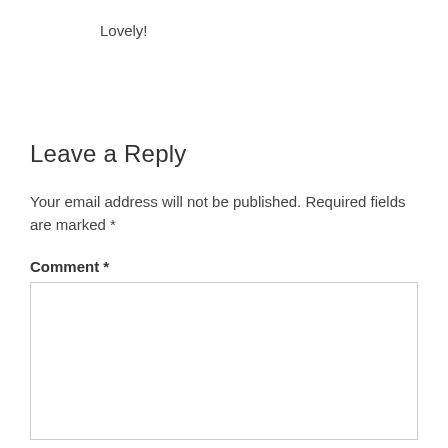Lovely!
Leave a Reply
Your email address will not be published. Required fields are marked *
Comment *